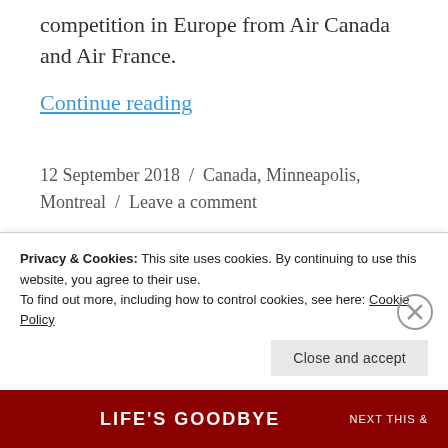competition in Europe from Air Canada and Air France.
Continue reading
12 September 2018  /  Canada, Minneapolis, Montreal  /  Leave a comment
Privacy & Cookies: This site uses cookies. By continuing to use this website, you agree to their use.
To find out more, including how to control cookies, see here: Cookie Policy
Close and accept